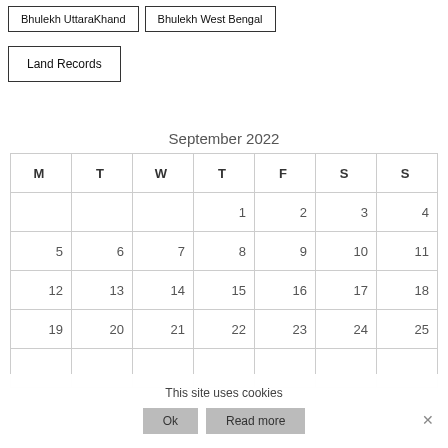Bhulekh UttaraKhand
Bhulekh West Bengal
Land Records
| M | T | W | T | F | S | S |
| --- | --- | --- | --- | --- | --- | --- |
|  |  |  | 1 | 2 | 3 | 4 |
| 5 | 6 | 7 | 8 | 9 | 10 | 11 |
| 12 | 13 | 14 | 15 | 16 | 17 | 18 |
| 19 | 20 | 21 | 22 | 23 | 24 | 25 |
|  |  |  |  |  |  |  |
September 2022
This site uses cookies
Ok
Read more